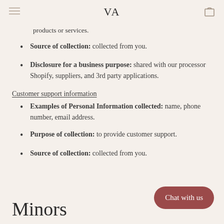VA
products or services.
Source of collection: collected from you.
Disclosure for a business purpose: shared with our processor Shopify, suppliers, and 3rd party applications.
Customer support information
Examples of Personal Information collected: name, phone number, email address.
Purpose of collection: to provide customer support.
Source of collection: collected from you.
Minors